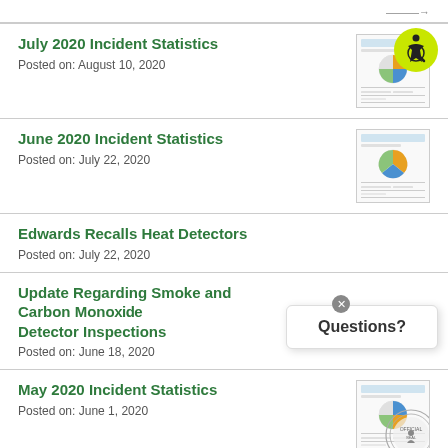July 2020 Incident Statistics
Posted on: August 10, 2020
June 2020 Incident Statistics
Posted on: July 22, 2020
Edwards Recalls Heat Detectors
Posted on: July 22, 2020
Update Regarding Smoke and Carbon Monoxide Detector Inspections
Posted on: June 18, 2020
May 2020 Incident Statistics
Posted on: June 1, 2020